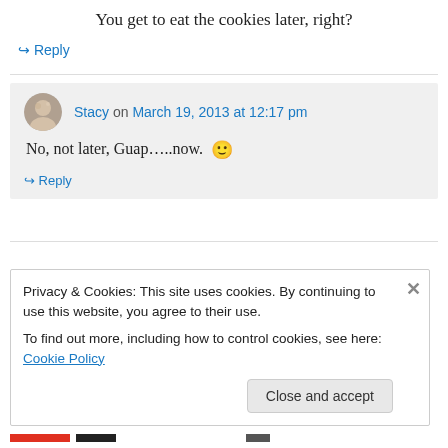You get to eat the cookies later, right?
↪ Reply
Stacy on March 19, 2013 at 12:17 pm
No, not later, Guap…..now. 🙂
↪ Reply
Privacy & Cookies: This site uses cookies. By continuing to use this website, you agree to their use. To find out more, including how to control cookies, see here: Cookie Policy
Close and accept